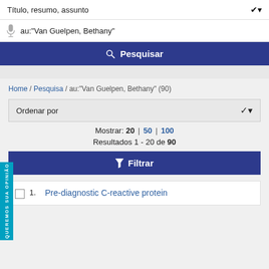Título, resumo, assunto
au:"Van Guelpen, Bethany"
Pesquisar
Home / Pesquisa / au:"Van Guelpen, Bethany" (90)
Ordenar por
Mostrar: 20 | 50 | 100
Resultados 1 - 20 de 90
Filtrar
1. Pre-diagnostic C-reactive protein